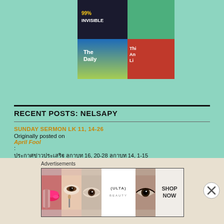[Figure (illustration): Podcast cover art collage showing: 99% Invisible (black with yellow text), The Daily (blue gradient), and another podcast (red, partial text visible)]
RECENT POSTS: NELSAPY
SUNDAY SERMON LK 11, 14-26
Originally posted on
April Fool
:
ประกาศข่าวประเสริฐ ลูกาบท 16, 20-28 ลูกาบท 14, 1-15 ลูกา 1, 8-13 ลูกาบท 11, 14-26 ประกาศข่าวประเสริฐ ประกาศข่าวประเสริฐ ประกาศข่าวประเสริฐ ประกาศข่าว ประกาศ
Advertisements
[Figure (illustration): Ulta Beauty advertisement banner showing makeup/cosmetics imagery and SHOP NOW text]